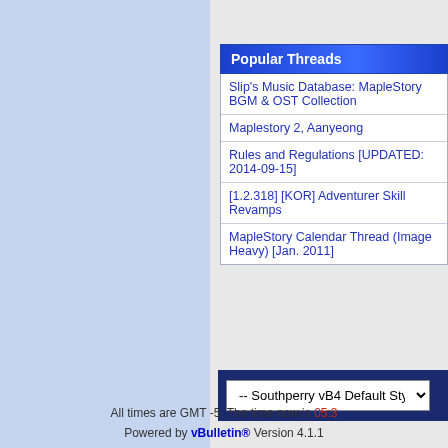Popular Threads
Slip's Music Database: MapleStory BGM & OST Collection
Maplestory 2, Aanyeong
Rules and Regulations [UPDATED: 2014-09-15]
[1.2.318] [KOR] Adventurer Skill Revamps
MapleStory Calendar Thread (Image Heavy) [Jan. 2011]
-- Southperry vB4 Default Style
All times are GMT -5. The time now is 05:3
Powered by vBulletin® Version 4.1.1